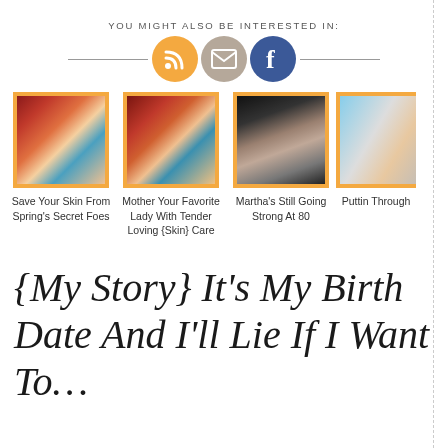YOU MIGHT ALSO BE INTERESTED IN:
[Figure (infographic): Three social media icons in circles: RSS (orange), Email (tan/gray), Facebook (blue), with horizontal lines on either side]
[Figure (photo): Thumbnail photo 1: Vintage photo of a woman with red/orange background — Marlene Dietrich style]
Save Your Skin From Spring's Secret Foes
[Figure (photo): Thumbnail photo 2: Similar vintage woman photo with red/orange background]
Mother Your Favorite Lady With Tender Loving {Skin} Care
[Figure (photo): Thumbnail photo 3: Photo of Martha Stewart, blonde woman in dark outfit]
Martha's Still Going Strong At 80
[Figure (photo): Thumbnail photo 4: Partially visible photo, light background with person]
Puttin Through
{My Story} It's My Birth Date And I'll Lie If I Want To…